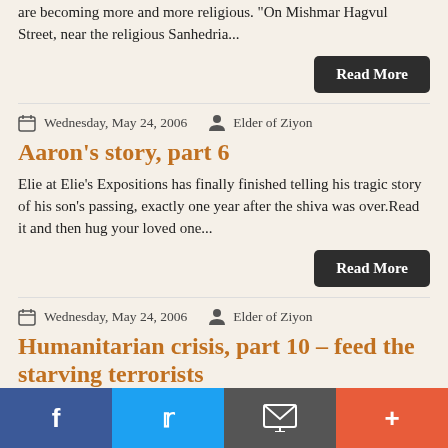are becoming more and more religious. "On Mishmar Hagvul Street, near the religious Sanhedria...
Read More
Wednesday, May 24, 2006   Elder of Ziyon
Aaron's story, part 6
Elie at Elie's Expositions has finally finished telling his tragic story of his son's passing, exactly one year after the shiva was over.Read it and then hug your loved one...
Read More
Wednesday, May 24, 2006   Elder of Ziyon
Humanitarian crisis, part 10 – feed the starving terrorists
In a staged shot worthy